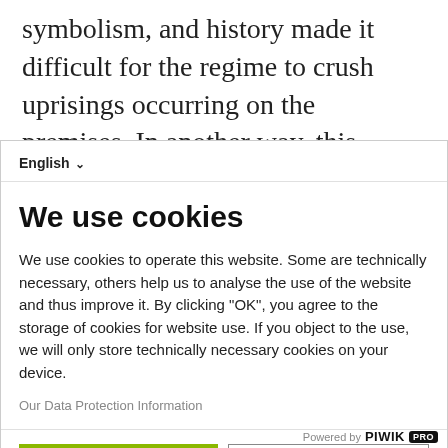symbolism, and history made it difficult for the regime to crush uprisings occurring on the premises. In another way, this chanting in the Armenian neighborhood was the result of the enmity and hatred that had begun to grow, the desire to exclude
English ▾
We use cookies
We use cookies to operate this website. Some are technically necessary, others help us to analyse the use of the website and thus improve it. By clicking "OK", you agree to the storage of cookies for website use. If you object to the use, we will only store technically necessary cookies on your device.
Our Data Protection Information
OK
No, thank you
Powered by PIWIK PRO